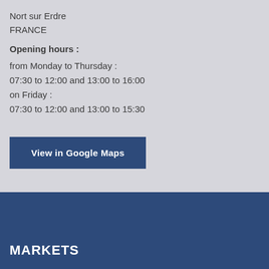Nort sur Erdre
FRANCE
Opening hours :
from Monday to Thursday :
07:30 to 12:00 and 13:00 to 16:00
on Friday :
07:30 to 12:00 and 13:00 to 15:30
View in Google Maps
MARKETS